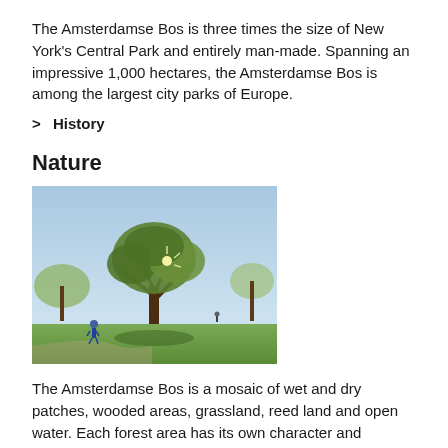The Amsterdamse Bos is three times the size of New York's Central Park and entirely man-made. Spanning an impressive 1,000 hectares, the Amsterdamse Bos is among the largest city parks of Europe.
> History
Nature
[Figure (photo): Outdoor park scene with a large tree backlit by sunlight, green grass, and a person walking in the background. Sky is light blue.]
The Amsterdamse Bos is a mosaic of wet and dry patches, wooded areas, grassland, reed land and open water. Each forest area has its own character and inhabitants. The Amsterdamse Bos is proud to present its very own big five!